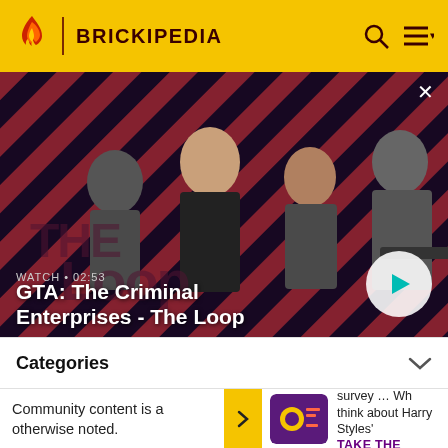BRICKIPEDIA
[Figure (screenshot): Hero video thumbnail for GTA: The Criminal Enterprises - The Loop. Shows four GTA characters on a diagonal red and dark stripe background. Duration label WATCH · 02:53. Play button on right side. Close X button top right.]
WATCH · 02:53
GTA: The Criminal Enterprises - The Loop
Categories
Community content is available under CC-BY-SA unless otherwise noted.
Watermelon survey … What do you think about Harry Styles'
TAKE THE SURVEY HERE